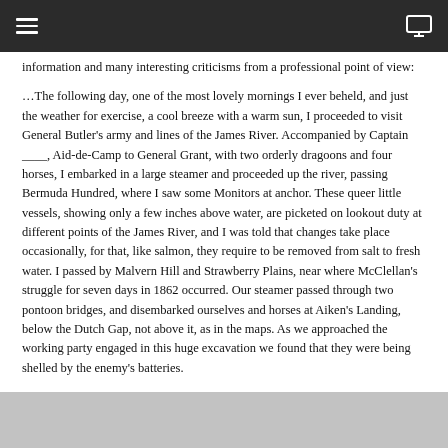information and many interesting criticisms from a professional point of view:
…The following day, one of the most lovely mornings I ever beheld, and just the weather for exercise, a cool breeze with a warm sun, I proceeded to visit General Butler's army and lines of the James River. Accompanied by Captain ____, Aid-de-Camp to General Grant, with two orderly dragoons and four horses, I embarked in a large steamer and proceeded up the river, passing Bermuda Hundred, where I saw some Monitors at anchor. These queer little vessels, showing only a few inches above water, are picketed on lookout duty at different points of the James River, and I was told that changes take place occasionally, for that, like salmon, they require to be removed from salt to fresh water. I passed by Malvern Hill and Strawberry Plains, near where McClellan's struggle for seven days in 1862 occurred. Our steamer passed through two pontoon bridges, and disembarked ourselves and horses at Aiken's Landing, below the Dutch Gap, not above it, as in the maps. As we approached the working party engaged in this huge excavation we found that they were being shelled by the enemy's batteries.